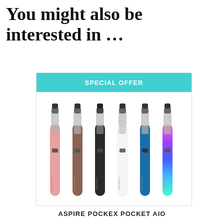You might also be interested in …
[Figure (photo): Six Aspire PockeX Pocket AIO vape pens in different colors (rose gold, brown, black, white, blue, rainbow/iridescent) displayed vertically side by side, with a SPECIAL OFFER banner above them in cyan]
ASPIRE POCKEX POCKET AIO